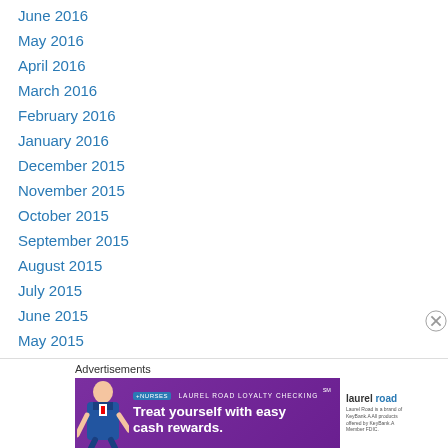June 2016
May 2016
April 2016
March 2016
February 2016
January 2016
December 2015
November 2015
October 2015
September 2015
August 2015
July 2015
June 2015
May 2015
April 2015
March 2015
Advertisements
[Figure (photo): Laurel Road Loyalty Checking advertisement banner with nurse and text 'Treat yourself with easy cash rewards.']